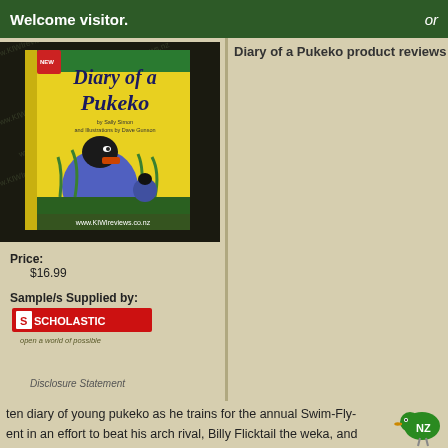Welcome visitor.    or
[Figure (photo): Book cover of 'Diary of a Pukeko' — yellow cover with illustration of pukeko bird, watermarked with www.KIWIreviews.co.nz]
Diary of a Pukeko product reviews
Price: $16.99
Sample/s Supplied by: Scholastic — open a world of possible
Disclosure Statement
Available: April 2011
ten diary of young pukeko as he trains for the annual Swim-Fly-ent in an effort to beat his arch rival, Billy Flicktail the weka, and